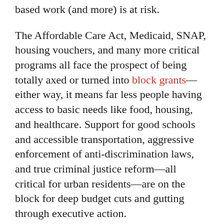based work (and more) is at risk.
The Affordable Care Act, Medicaid, SNAP, housing vouchers, and many more critical programs all face the prospect of being totally axed or turned into block grants—either way, it means far less people having access to basic needs like food, housing, and healthcare. Support for good schools and accessible transportation, aggressive enforcement of anti-discrimination laws, and true criminal justice reform—all critical for urban residents—are on the block for deep budget cuts and gutting through executive action.
These cuts, and the weakening of community-based organizations, place children in particular in deep jeopardy. Without a real jobs program and investment in communities that have been stripped of their wealth